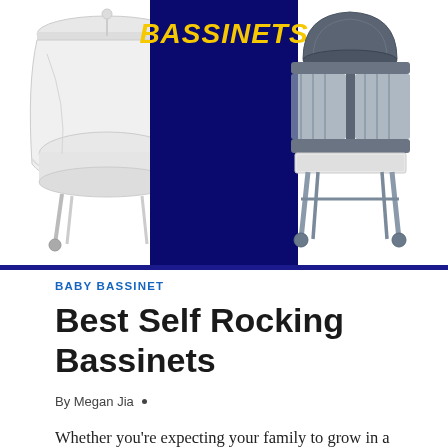[Figure (photo): Banner image showing two bassinets on white background with dark blue center panel containing the word BASSINETS in bold yellow italic text. Left bassinet is white with canopy, right bassinet is gray/dark with hood.]
BABY BASSINET
Best Self Rocking Bassinets
By Megan Jia •
Whether you're expecting your family to grow in a few months or your little one has already arrived, you must be overwhelmed with the number of gadgets available at your disposal. While it may seem difficult to choose what to